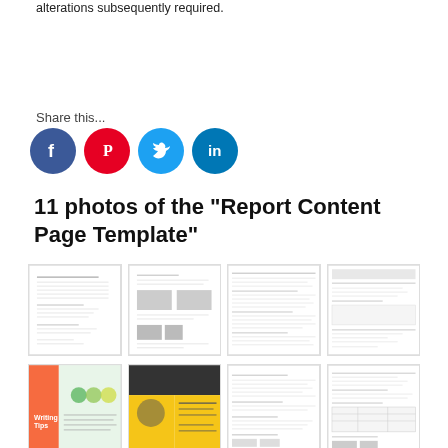alterations subsequently required.
Share this...
[Figure (infographic): Social media share icons: Facebook (blue), Pinterest (red), Twitter (light blue), LinkedIn (blue)]
11 photos of the "Report Content Page Template"
[Figure (screenshot): Thumbnail images of Report Content Page Template documents - row 1: four document preview thumbnails]
[Figure (screenshot): Thumbnail images of Report Content Page Template documents - row 2: four document preview thumbnails]